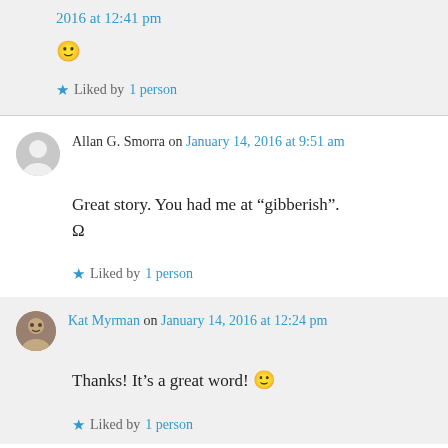2016 at 12:41 pm
🙂
★ Liked by 1 person
Allan G. Smorra on January 14, 2016 at 9:51 am
Great story. You had me at "gibberish". Ω
★ Liked by 1 person
Kat Myrman on January 14, 2016 at 12:24 pm
Thanks! It's a great word! 🙂
★ Liked by 1 person